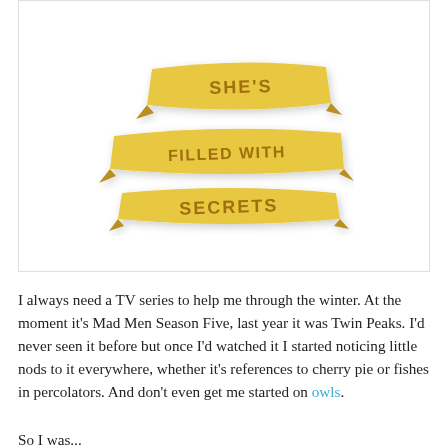[Figure (photo): A gold/cream colored decorative pin/badge made of ribbon banners reading 'SHE'S FILLED WITH SECRETS' in engraved letters, on a white background.]
I always need a TV series to help me through the winter. At the moment it's Mad Men Season Five, last year it was Twin Peaks. I'd never seen it before but once I'd watched it I started noticing little nods to it everywhere, whether it's references to cherry pie or fishes in percolators. And don't even get me started on owls.
So I was...